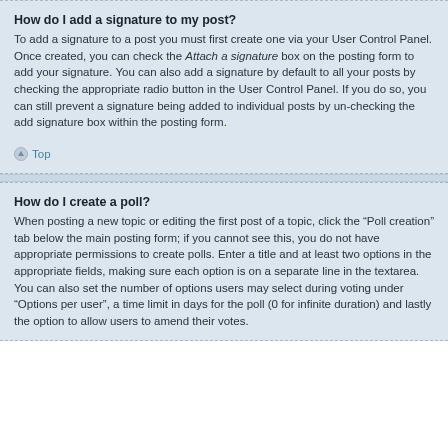How do I add a signature to my post?
To add a signature to a post you must first create one via your User Control Panel. Once created, you can check the Attach a signature box on the posting form to add your signature. You can also add a signature by default to all your posts by checking the appropriate radio button in the User Control Panel. If you do so, you can still prevent a signature being added to individual posts by un-checking the add signature box within the posting form.
Top
How do I create a poll?
When posting a new topic or editing the first post of a topic, click the “Poll creation” tab below the main posting form; if you cannot see this, you do not have appropriate permissions to create polls. Enter a title and at least two options in the appropriate fields, making sure each option is on a separate line in the textarea. You can also set the number of options users may select during voting under “Options per user”, a time limit in days for the poll (0 for infinite duration) and lastly the option to allow users to amend their votes.